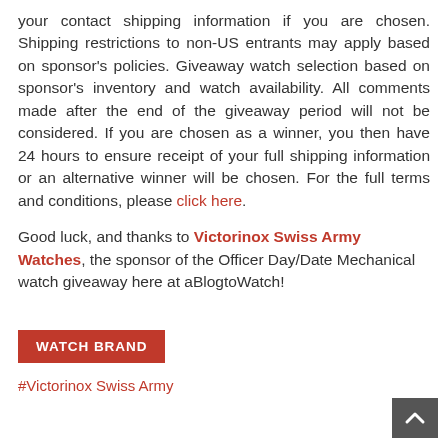your contact shipping information if you are chosen. Shipping restrictions to non-US entrants may apply based on sponsor's policies. Giveaway watch selection based on sponsor's inventory and watch availability. All comments made after the end of the giveaway period will not be considered. If you are chosen as a winner, you then have 24 hours to ensure receipt of your full shipping information or an alternative winner will be chosen. For the full terms and conditions, please click here.
Good luck, and thanks to Victorinox Swiss Army Watches, the sponsor of the Officer Day/Date Mechanical watch giveaway here at aBlogtoWatch!
WATCH BRAND
#Victorinox Swiss Army